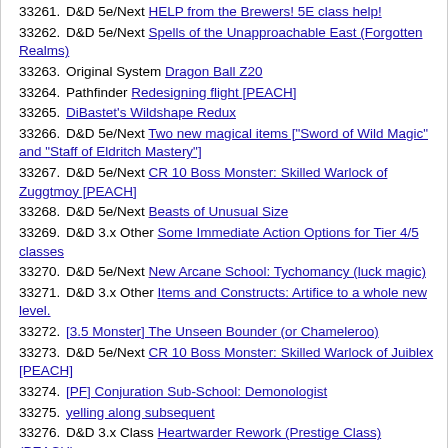33261. D&D 5e/Next HELP from the Brewers! 5E class help!
33262. D&D 5e/Next Spells of the Unapproachable East (Forgotten Realms)
33263. Original System Dragon Ball Z20
33264. Pathfinder Redesigning flight [PEACH]
33265. DiBastet's Wildshape Redux
33266. D&D 5e/Next Two new magical items ["Sword of Wild Magic" and "Staff of Eldritch Mastery"]
33267. D&D 5e/Next CR 10 Boss Monster: Skilled Warlock of Zuggtmoy [PEACH]
33268. D&D 5e/Next Beasts of Unusual Size
33269. D&D 3.x Other Some Immediate Action Options for Tier 4/5 classes
33270. D&D 5e/Next New Arcane School: Tychomancy (luck magic)
33271. D&D 3.x Other Items and Constructs: Artifice to a whole new level.
33272. [3.5 Monster] The Unseen Bounder (or Chameleroo)
33273. D&D 5e/Next CR 10 Boss Monster: Skilled Warlock of Juiblex [PEACH]
33274. [PF] Conjuration Sub-School: Demonologist
33275. yelling along subsequent
33276. D&D 3.x Class Heartwarder Rework (Prestige Class) (PEACH)
33277. D&D 5e/Next Druid Path - Veilminder (planar travel theme, Riftcutter Barbarian companion class)
33278. D&D 3.x Class Void Walker class / Child of the Void feat
33279. Working on an PRG system - what next
33280. D&D 3.x Class The Stuffshaper (Class in 20 minutes...